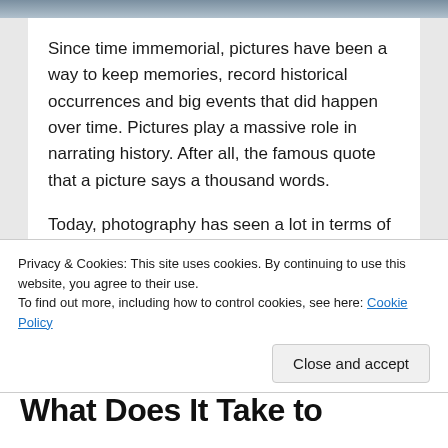[Figure (photo): Partial image strip at the top of the page showing blurred figures]
Since time immemorial, pictures have been a way to keep memories, record historical occurrences and big events that did happen over time. Pictures play a massive role in narrating history. After all, the famous quote that a picture says a thousand words.
Today, photography has seen a lot in terms of production quality due to technological advancements. Innovations have led to having
Privacy & Cookies: This site uses cookies. By continuing to use this website, you agree to their use.
To find out more, including how to control cookies, see here: Cookie Policy
Close and accept
What Does It Take to